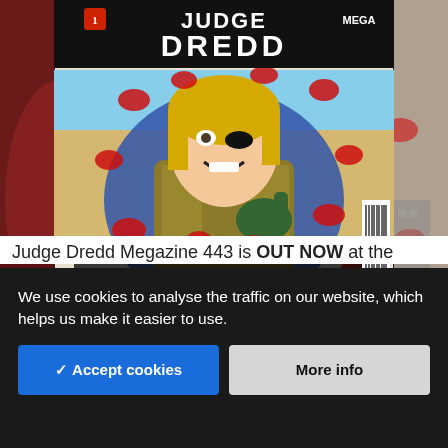[Figure (illustration): Comic book magazine cover for Judge Dredd Megazine featuring a female judge character smiling and giving a thumbs up, surrounded by red bloody handprints on a blue background. Title text reads 'HATE CAMPAIGN! BADROCK'S MAYORAL ELECTION HAS A BODY COUNT'. Blurred comic imagery visible on sides.]
Judge Dredd Megazine 443 is OUT NOW at the
We use cookies to analyse the traffic on our website, which helps us make it easier to use.
✓ Accept cookies
More info